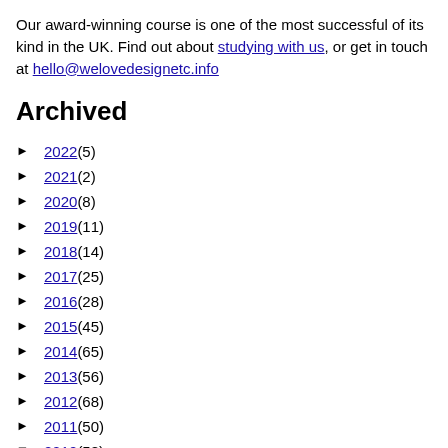Our award-winning course is one of the most successful of its kind in the UK. Find out about studying with us, or get in touch at hello@welovedesignetc.info
Archived
► 2022 (5)
► 2021 (2)
► 2020 (8)
► 2019 (11)
► 2018 (14)
► 2017 (25)
► 2016 (28)
► 2015 (45)
► 2014 (65)
► 2013 (56)
► 2012 (68)
► 2011 (50)
▼ 2010 (58)